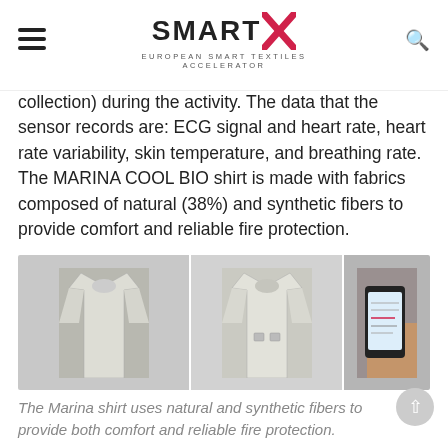SMART X — EUROPEAN SMART TEXTILES ACCELERATOR
collection) during the activity. The data that the sensor records are: ECG signal and heart rate, heart rate variability, skin temperature, and breathing rate. The MARINA COOL BIO shirt is made with fabrics composed of natural (38%) and synthetic fibers to provide comfort and reliable fire protection.
[Figure (photo): Three photos showing the Marina COOL BIO shirt: left photo shows a long-sleeve white shirt on a flat surface, center photo shows the shirt from the front with sensor pockets, right photo shows a smartphone displaying sensor data readings.]
The Marina shirt uses natural and synthetic fibers to provide both comfort and reliable fire protection.